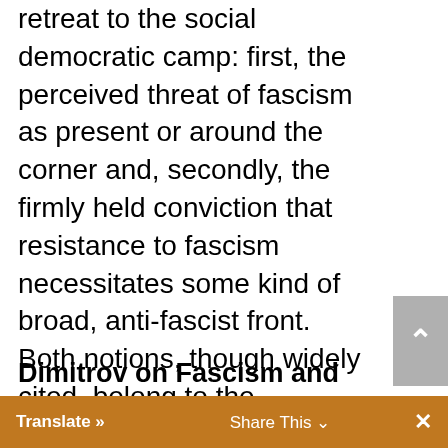retreat to the social democratic camp: first, the perceived threat of fascism as present or around the corner and, secondly, the firmly held conviction that resistance to fascism necessitates some kind of broad, anti-fascist front. Both notions, though widely cited, belong to the theoretical legacy of the Marxist-Leninist left. And both were elaborated most clearly and authoritatively by the Communist theoretician of fascism, Georgi Dimitrov.
Dimitrov on Fascism and Anti-fascism
Hardly a day goes by without someone on ng the shrill alarm of fascism. nstone reminds us in her